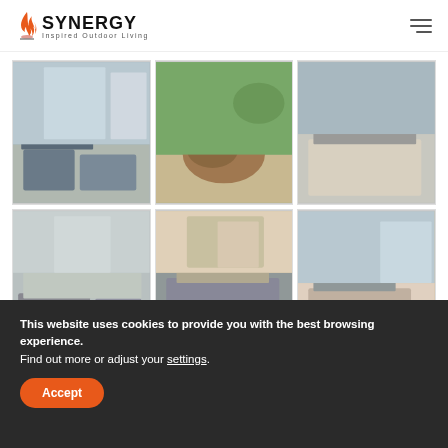SYNERGY Inspired Outdoor Living
[Figure (photo): Grid of 6 outdoor kitchen/living space photos showing grills, outdoor kitchens, and landscaping features]
This website uses cookies to provide you with the best browsing experience.
Find out more or adjust your settings.
Accept